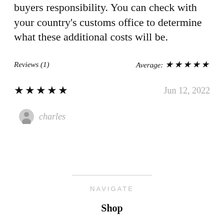buyers responsibility. You can check with your country's customs office to determine what these additional costs will be.
Reviews (1)
Average: ★★★★★
★★★★★
Jun 12, 2022
charles
NAVIGATE
Shop